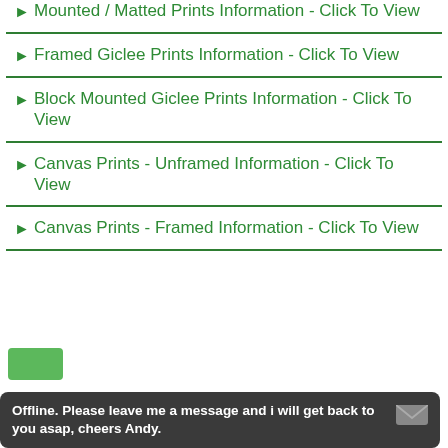▶ Mounted / Matted Prints Information - Click To View
▶ Framed Giclee Prints Information - Click To View
▶ Block Mounted Giclee Prints Information - Click To View
▶ Canvas Prints - Unframed Information - Click To View
▶ Canvas Prints - Framed Information - Click To View
Offline. Please leave me a message and i will get back to you asap, cheers Andy.